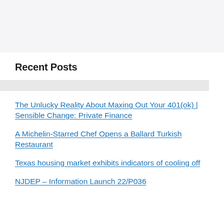Recent Posts
The Unlucky Reality About Maxing Out Your 401(ok) | Sensible Change: Private Finance
A Michelin-Starred Chef Opens a Ballard Turkish Restaurant
Texas housing market exhibits indicators of cooling off
NJDEP – Information Launch 22/P036